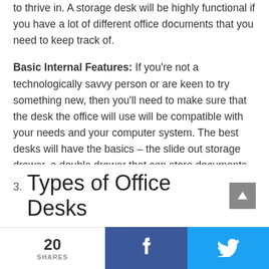to thrive in. A storage desk will be highly functional if you have a lot of different office documents that you need to keep track of.
Basic Internal Features: If you're not a technologically savvy person or are keen to try something new, then you'll need to make sure that the desk the office will use will be compatible with your needs and your computer system. The best desks will have the basics – the slide out storage drawer, a double drawer that can store documents and the typing point for the top desk.
3. Types of Office Desks
20 SHARES  f  🐦